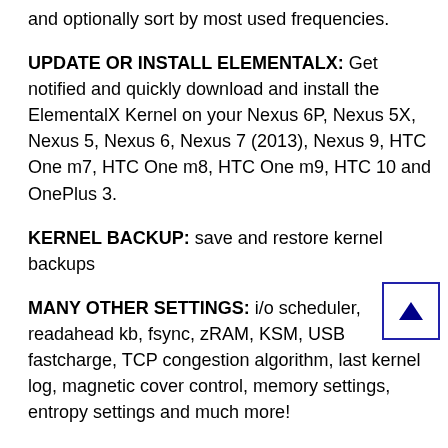and optionally sort by most used frequencies.
UPDATE OR INSTALL ELEMENTALX: Get notified and quickly download and install the ElementalX Kernel on your Nexus 6P, Nexus 5X, Nexus 5, Nexus 6, Nexus 7 (2013), Nexus 9, HTC One m7, HTC One m8, HTC One m9, HTC 10 and OnePlus 3.
KERNEL BACKUP: save and restore kernel backups
MANY OTHER SETTINGS: i/o scheduler, readahead kb, fsync, zRAM, KSM, USB fastcharge, TCP congestion algorithm, last kernel log, magnetic cover control, memory settings, entropy settings and much more!
OTHER FEATURES: configurable, one-click Powersave mode and Performance modes, CPU temperature notification, language chooser (English, French, German, Dutch, Finnish, Italian, Portuguese, Polish, Russian, Spanish, Turkish